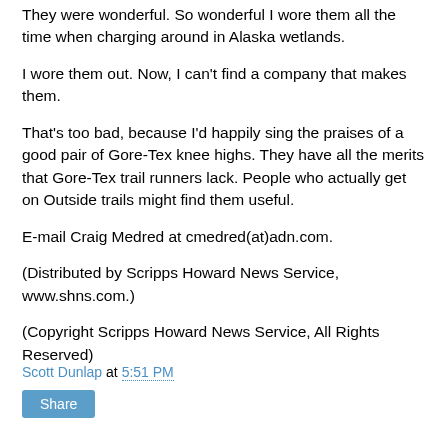They were wonderful. So wonderful I wore them all the time when charging around in Alaska wetlands.
I wore them out. Now, I can't find a company that makes them.
That's too bad, because I'd happily sing the praises of a good pair of Gore-Tex knee highs. They have all the merits that Gore-Tex trail runners lack. People who actually get on Outside trails might find them useful.
E-mail Craig Medred at cmedred(at)adn.com.
(Distributed by Scripps Howard News Service, www.shns.com.)
(Copyright Scripps Howard News Service, All Rights Reserved)
Scott Dunlap at 5:51 PM
Share